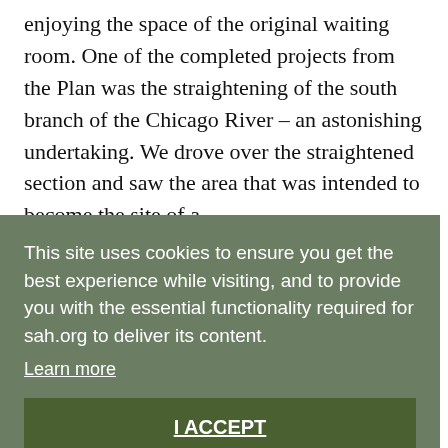enjoying the space of the original waiting room. One of the completed projects from the Plan was the straightening of the south branch of the Chicago River – an astonishing undertaking. We drove over the straightened section and saw the area that was intended to become the site of a
ne
This site uses cookies to ensure you get the best experience while visiting, and to provide you with the essential functionality required for sah.org to deliver its content. Learn more
I ACCEPT
of
ment